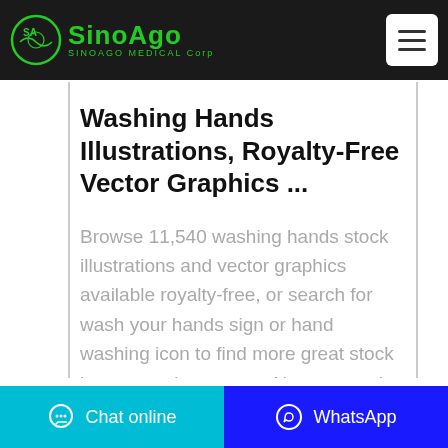SINOAGO MEDICAL Corp
Washing Hands Illustrations, Royalty-Free Vector Graphics ...
Browse 11,540 washing hands stock illustrations and vector graphics available royalty-free, or search for wash your hands sign or hand washing icon to find more great stock images and vector art. Newest results. wash your hands sign. hand washing icon. kids washing hands.
Chat online  WhatsApp